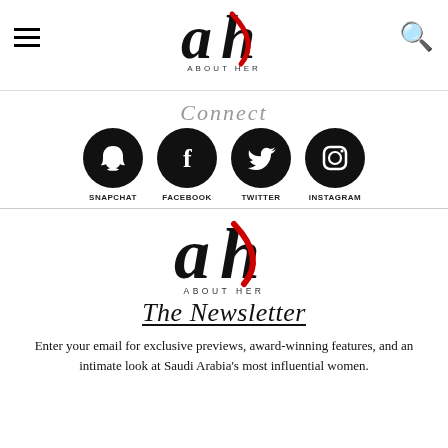About Her — navigation header with hamburger menu and search icon
[Figure (logo): About Her logo — stylized 'ah' in black and red with text ABOUT HER below]
Connect
[Figure (infographic): Social media icons row: Snapchat, Facebook, Twitter, Instagram — black circles with white icons and labels below]
[Figure (logo): About Her logo — stylized 'ah' in black and red with text ABOUT HER below]
The Newsletter
Enter your email for exclusive previews, award-winning features, and an intimate look at Saudi Arabia's most influential women.